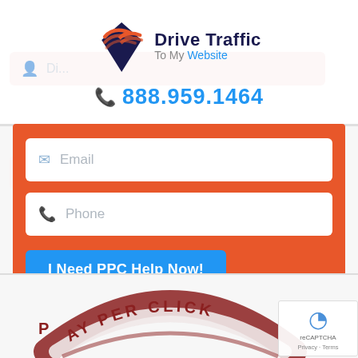[Figure (logo): Drive Traffic To My Website logo with swoosh icon]
888.959.1464
Email
Phone
I Need PPC Help Now!
[Figure (illustration): Pay Per Click stamp graphic, partially visible at bottom of page]
[Figure (other): Google reCAPTCHA badge with Privacy and Terms links]